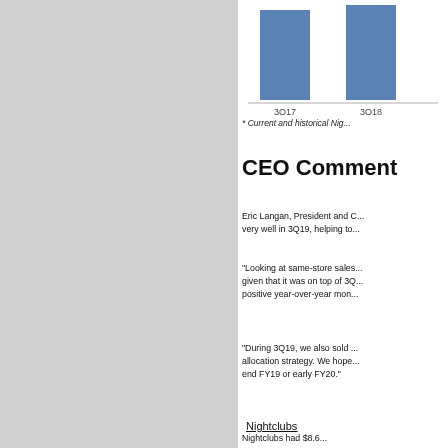[Figure (bar-chart): Bar chart showing quarterly data]
* Current and historical Nig...
CEO Comment
Eric Langan, President and C... very well in 3Q19, helping to...
"Looking at same-store sales... given that it was on top of 3Q... positive year-over-year mon...
"During 3Q19, we also sold ... allocation strategy. We hope... end FY19 or early FY20."
Nightclubs
Nightclubs had $8.6...